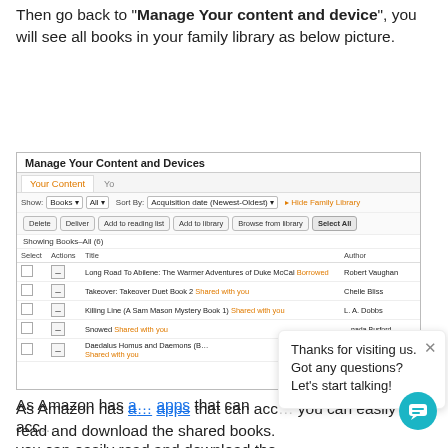Then go back to "Manage Your content and device", you will see all books in your family library as below picture.
[Figure (screenshot): Screenshot of Amazon 'Manage Your Content and Devices' page showing a family library list of books with columns for Select, Actions, Title, and Author. Books listed include Long Road To Abilene (Borrowed), Takeover Duet Book 2 (Shared with you), Killing Line (Shared with you), Snowed (Shared with you), and Daedalus Homus and Daemons (Shared with you).]
[Figure (screenshot): Chat popup overlay with text 'Thanks for visiting us. Got any questions? Let’s start talking!' and a teal circular chat icon in the bottom right corner, with a close (X) button.]
As Amazon has a… apps that can acc… you can easily read and download the shared books.
One thing to be mentioned is that the